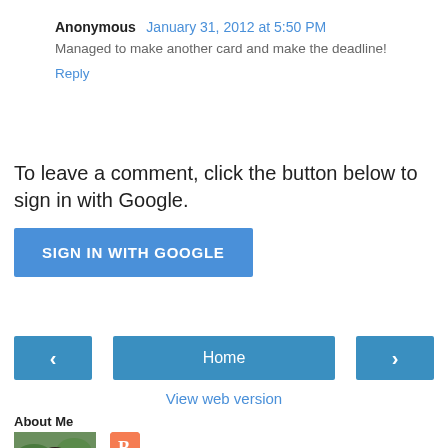Anonymous  January 31, 2012 at 5:50 PM
Managed to make another card and make the deadline!
Reply
To leave a comment, click the button below to sign in with Google.
SIGN IN WITH GOOGLE
Home
View web version
About Me
[Figure (photo): Profile photo of a woman with dark hair, outdoors with pink flowers]
View my complete profile